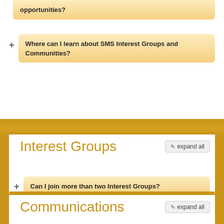opportunities?
Where can I learn about SMS Interest Groups and Communities?
Interest Groups
Can I join more than two Interest Groups?
How do I change which Interest Groups or Communities I am enrolled in?
Communications